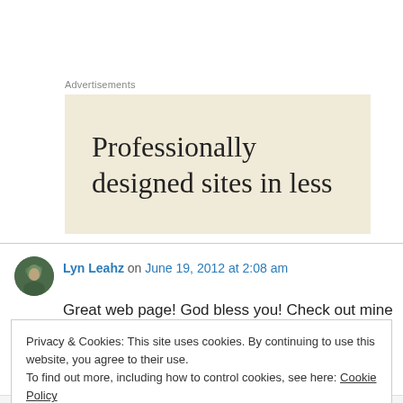Advertisements
[Figure (other): Advertisement banner with beige background showing text: Professionally designed sites in less]
Lyn Leahz on June 19, 2012 at 2:08 am
Great web page! God bless you! Check out mine
Privacy & Cookies: This site uses cookies. By continuing to use this website, you agree to their use.
To find out more, including how to control cookies, see here: Cookie Policy
Close and accept